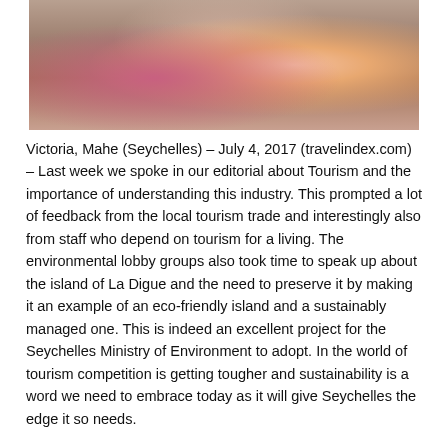[Figure (photo): Photo of a woman in a pink bikini and a man in blue polka-dot swim shorts, both with athletic builds, photographed at a beach setting.]
Victoria, Mahe (Seychelles) – July 4, 2017 (travelindex.com) – Last week we spoke in our editorial about Tourism and the importance of understanding this industry. This prompted a lot of feedback from the local tourism trade and interestingly also from staff who depend on tourism for a living. The environmental lobby groups also took time to speak up about the island of La Digue and the need to preserve it by making it an example of an eco-friendly island and a sustainably managed one. This is indeed an excellent project for the Seychelles Ministry of Environment to adopt. In the world of tourism competition is getting tougher and sustainability is a word we need to embrace today as it will give Seychelles the edge it so needs.